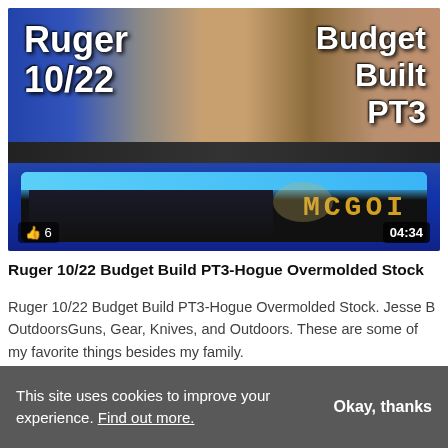[Figure (screenshot): YouTube video thumbnail showing a man holding a Hogue Overmolded Stock for Ruger 10/22. Text overlays read 'Ruger 10/22' on the left and 'Budget Built PT3' on the right. Like count shows 6 and duration shows 04:34.]
Ruger 10/22 Budget Build PT3-Hogue Overmolded Stock
Ruger 10/22 Budget Build PT3-Hogue Overmolded Stock. Jesse B OutdoorsGuns, Gear, Knives, and Outdoors. These are some of my favorite things besides my family.
This site uses cookies to improve your experience. Find out more.
Okay, thanks